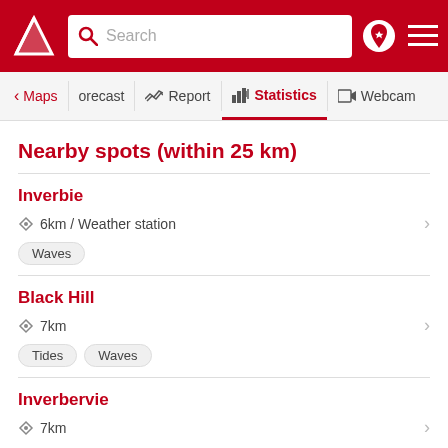Search | Maps | Forecast | Report | Statistics | Webcam
Nearby spots (within 25 km)
Inverbie
6km / Weather station
Waves
Black Hill
7km
Tides  Waves
Inverbervie
7km